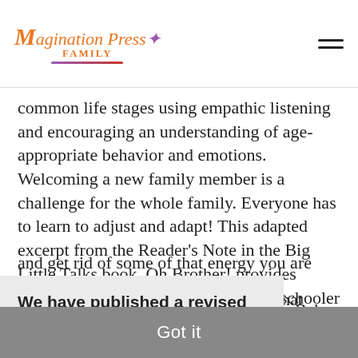Magination Press FAMILY
common life stages using empathic listening and encouraging an understanding of age-appropriate behavior and emotions. Welcoming a new family member is a challenge for the whole family. Everyone has to learn to adjust and adapt! This adapted excerpt from the Reader's Note in the Big Little Talks book, Oh Brother! provides strategies for parents to help their preschooler adjust to the arrival of a new sibling.  Identify and Express Emotions. While young
We have published a revised version of our Privacy Statement. Please read these updated terms and take some time to understand them.  Learn more
ases: ou're her ng." Prepare the Child for the Arrival of the Baby. The